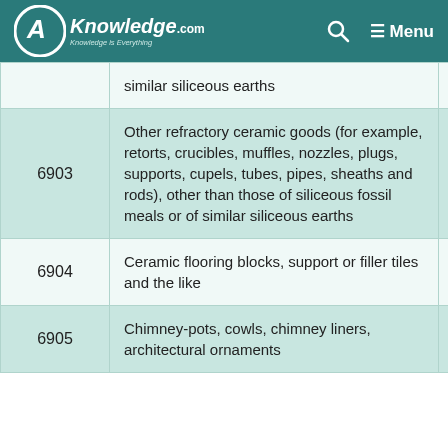AKnowledge.com — Knowledge is Everything | Search | Menu
| Code | Description | Rate |
| --- | --- | --- |
|  | similar siliceous earths |  |
| 6903 | Other refractory ceramic goods (for example, retorts, crucibles, muffles, nozzles, plugs, supports, cupels, tubes, pipes, sheaths and rods), other than those of siliceous fossil meals or of similar siliceous earths | 18 |
| 6904 | Ceramic flooring blocks, support or filler tiles and the like | 18 |
| 6905 | Chimney-pots, cowls, chimney liners, architectural ornaments | 18 |